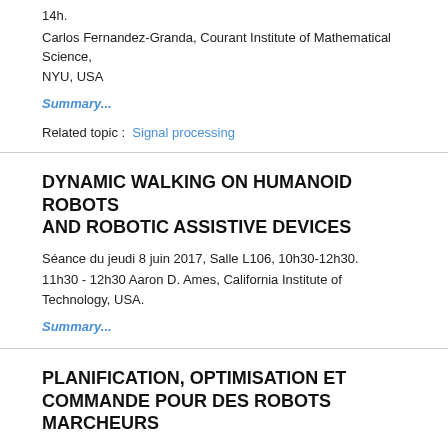14h.
Carlos Fernandez-Granda, Courant Institute of Mathematical Science, NYU, USA
Summary...
Related topic :  Signal processing
DYNAMIC WALKING ON HUMANOID ROBOTS AND ROBOTIC ASSISTIVE DEVICES
Séance du jeudi 8 juin 2017, Salle L106, 10h30-12h30.
11h30 - 12h30 Aaron D. Ames, California Institute of Technology, USA.
Summary...
PLANIFICATION, OPTIMISATION ET COMMANDE POUR DES ROBOTS MARCHEURS